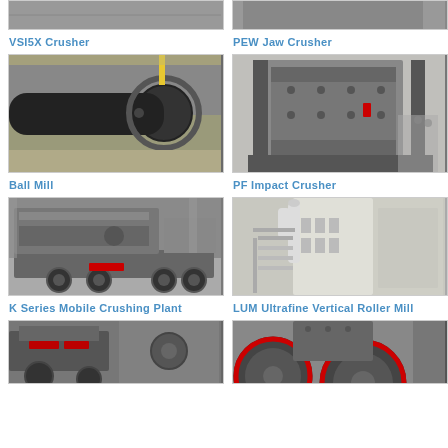[Figure (photo): VSI5X Crusher machine photo - partially visible at top]
[Figure (photo): PEW Jaw Crusher machine photo - partially visible at top]
VSI5X Crusher
PEW Jaw Crusher
[Figure (photo): Ball Mill - large cylindrical rotating mill with gear ring in factory]
[Figure (photo): PF Impact Crusher - large grey impact crusher machine]
Ball Mill
PF Impact Crusher
[Figure (photo): K Series Mobile Crushing Plant - mobile crusher on truck chassis]
[Figure (photo): LUM Ultrafine Vertical Roller Mill - large white industrial milling tower]
K Series Mobile Crushing Plant
LUM Ultrafine Vertical Roller Mill
[Figure (photo): Partially visible crusher machine - bottom of page, left]
[Figure (photo): Partially visible jaw crusher machine - bottom of page, right]